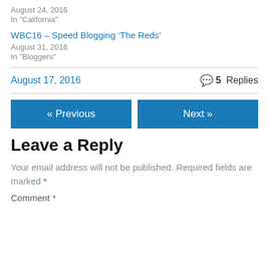August 24, 2016
In "California"
WBC16 – Speed Blogging ‘The Reds’
August 31, 2016
In "Bloggers"
August 17, 2016
5 Replies
« Previous
Next »
Leave a Reply
Your email address will not be published. Required fields are marked *
Comment *